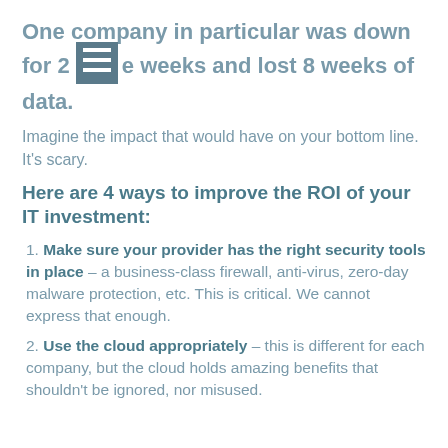One company in particular was down for 2 entire weeks and lost 8 weeks of data.
Imagine the impact that would have on your bottom line. It's scary.
Here are 4 ways to improve the ROI of your IT investment:
1. Make sure your provider has the right security tools in place – a business-class firewall, anti-virus, zero-day malware protection, etc. This is critical. We cannot express that enough.
2. Use the cloud appropriately – this is different for each company, but the cloud holds amazing benefits that shouldn't be ignored, nor misused.